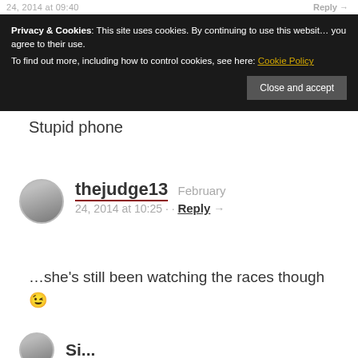24, 2014 at 09:40  Reply →
Privacy & Cookies: This site uses cookies. By continuing to use this website, you agree to their use.
To find out more, including how to control cookies, see here: Cookie Policy
Close and accept
Stupid phone
thejudge13  February 24, 2014 at 10:25 · · Reply →
…she's still been watching the races though 😉